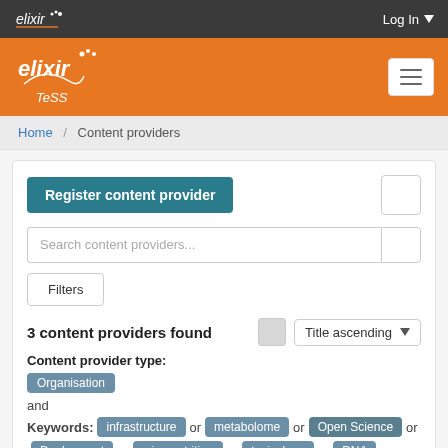elixir | Log In
[Figure (logo): ELIXIR TeSS logo on orange background with hamburger menu button]
Home / Content providers
Register content provider
Search content providers...
Filters
3 content providers found
Title ascending
Content provider type:
Organisation
and
Keywords: infrastructure or metabolome or Open Science or Deployment or micronutrition or toxicology or DNA